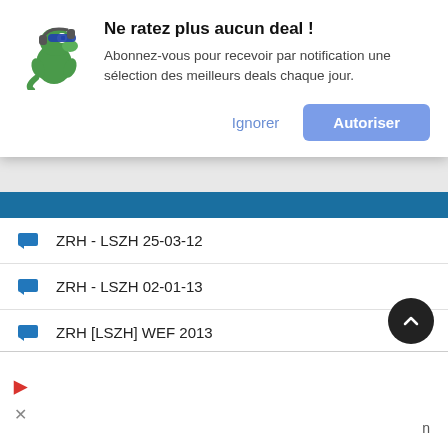[Figure (screenshot): Notification popup with dino mascot, title 'Ne ratez plus aucun deal !', subscription description text, and two buttons: Ignorer and Autoriser]
ZRH - LSZH 25-03-12
ZRH - LSZH 02-01-13
ZRH [LSZH] WEF 2013
ZRH LSZH 25.01.12
ZRH LSZH 20.01.10